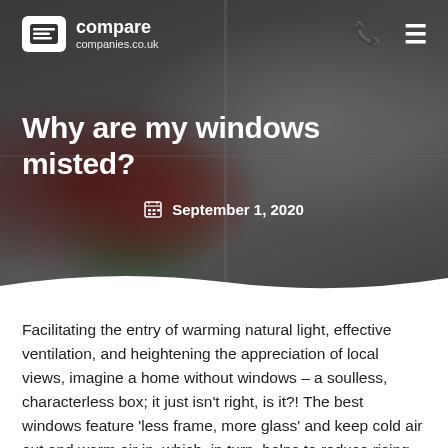[Figure (photo): Hero background photo showing a window with red tulips in a vase on the sill and a hand reaching to open the window, with a dark overlay]
compare companies.co.uk
Why are my windows misted?
September 1, 2020
Facilitating the entry of warming natural light, effective ventilation, and heightening the appreciation of local views, imagine a home without windows – a soulless, characterless box; it just isn't right, is it?! The best windows feature 'less frame, more glass' and keep cold air out and warm air in, which, in turn, helps to reduce rising energy